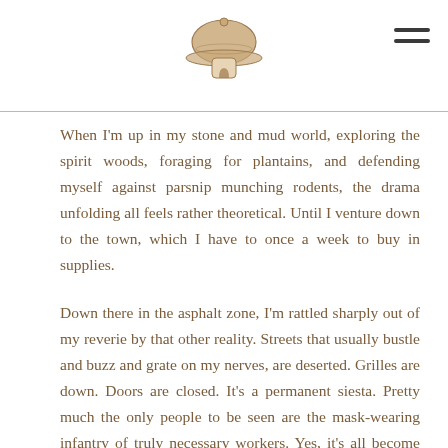[site logo and navigation menu icon]
When I'm up in my stone and mud world, exploring the spirit woods, foraging for plantains, and defending myself against parsnip munching rodents, the drama unfolding all feels rather theoretical. Until I venture down to the town, which I have to once a week to buy in supplies.
Down there in the asphalt zone, I'm rattled sharply out of my reverie by that other reality. Streets that usually bustle and buzz and grate on my nerves, are deserted. Grilles are down. Doors are closed. It's a permanent siesta. Pretty much the only people to be seen are the mask-wearing infantry of truly necessary workers. Yes, it's all become crystal clear now hasn't it, who we really need and who we don't: cleaners, waste disposal workers, and food vendors are the only people out on the streets who aren't scurrying nervously in the direction of a